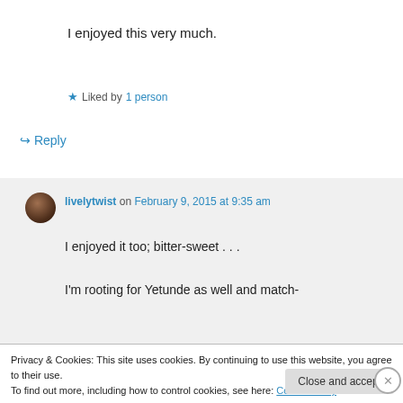I enjoyed this very much.
★ Liked by 1 person
↪ Reply
livelytwist on February 9, 2015 at 9:35 am
I enjoyed it too; bitter-sweet . . .
I'm rooting for Yetunde as well and match-
Privacy & Cookies: This site uses cookies. By continuing to use this website, you agree to their use. To find out more, including how to control cookies, see here: Cookie Policy
Close and accept